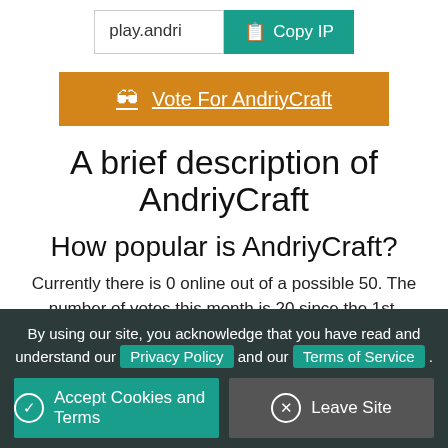[Figure (screenshot): IP address input box showing 'play.andri...' with a teal 'Copy IP' button next to it]
[Figure (screenshot): Orange 'Vote For AndriyCraft' button with a chest icon]
A brief description of AndriyCraft
How popular is AndriyCraft?
Currently there is 0 online out of a possible 50. The number of votes this month is 20 since the 1st. Voting allows you to get rewards for free.
Most Recent Voters
Below are the five most recent players to vote for AndriyCraft and recieved a reward.
By using our site, you acknowledge that you have read and understand our Privacy Policy and our Terms of Service .
✓ Accept Cookies and Terms    ✕ Leave Site